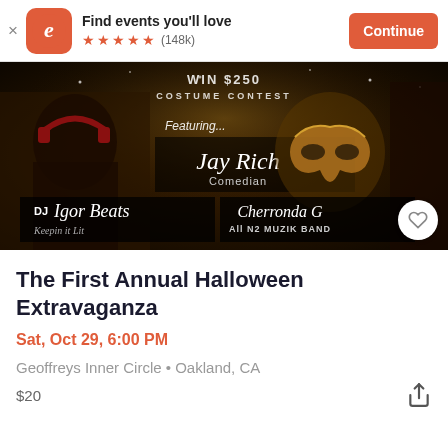Find events you'll love | (148k) | Continue
[Figure (photo): Halloween Extravaganza event poster featuring DJ Igor Beats, Jay Rich Comedian, Cherronda G All N2 Muzik Band, costume contest WIN $250]
The First Annual Halloween Extravaganza
Sat, Oct 29, 6:00 PM
Geoffreys Inner Circle • Oakland, CA
$20